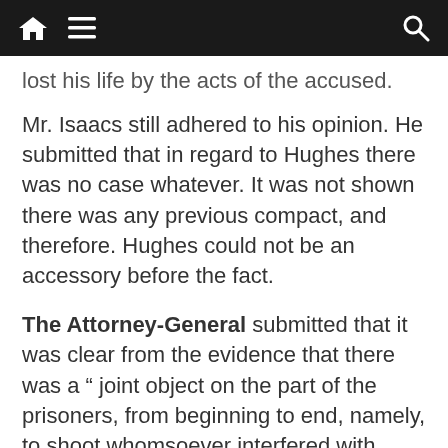[ navigation bar with home, menu, and search icons ]
lost his life by the acts of the accused.
Mr. Isaacs still adhered to his opinion. He submitted that in regard to Hughes there was no case whatever. It was not shown there was any previous compact, and therefore. Hughes could not be an accessory before the fact.
The Attorney-General submitted that it was clear from the evidence that there was a “ joint object on the part of the prisoners, from beginning to end, namely, to shoot whomsoever interfered with them, in the proceeding which they had adopted